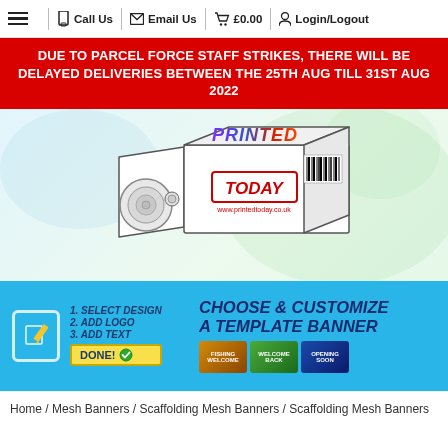☰  📱 Call Us  @ Email Us  🛒 £0.00  🔑 Login/Logout
DUE TO PARCEL FORCE STAFF STRIKES, THERE WILL BE DELAYED DELIVERIES BETWEEN THE 25TH AUG TILL 31ST AUG 2022
[Figure (illustration): A box opened with a roll of printed banner inside, labeled PRINTED TODAY with website www.printedtoday.co.uk and a barcode on the side]
[Figure (infographic): CHOOSE & CUSTOMIZE A TEMPLATE BANNER promo section with steps: 1. SELECT DESIGN, 2. ADD LOGO, 3. ADD TEXT, DONE! and sample banner thumbnails]
Home / Mesh Banners / Scaffolding Mesh Banners / Scaffolding Mesh Banners